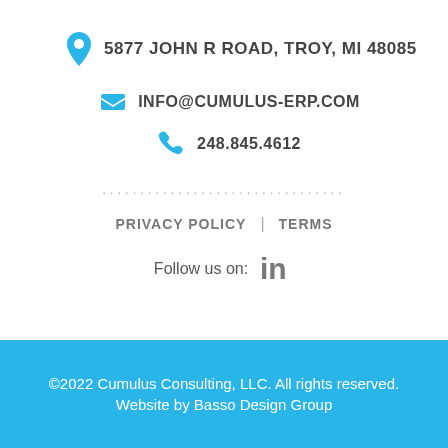5877 JOHN R ROAD, TROY, MI 48085
248.845.4612
INFO@CUMULUS-ERP.COM
PRIVACY POLICY | TERMS
Follow us on: in
©2022 Cumulus Consulting, LLC. All rights reserved. Website by Basso Design Group